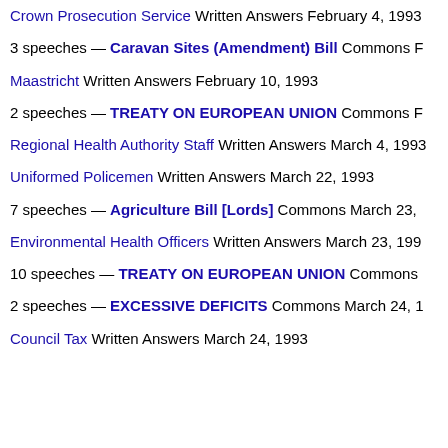Crown Prosecution Service Written Answers February 4, 1993
3 speeches — Caravan Sites (Amendment) Bill Commons F
Maastricht Written Answers February 10, 1993
2 speeches — TREATY ON EUROPEAN UNION Commons F
Regional Health Authority Staff Written Answers March 4, 1993
Uniformed Policemen Written Answers March 22, 1993
7 speeches — Agriculture Bill [Lords] Commons March 23,
Environmental Health Officers Written Answers March 23, 199
10 speeches — TREATY ON EUROPEAN UNION Commons
2 speeches — EXCESSIVE DEFICITS Commons March 24, 1
Council Tax Written Answers March 24, 1993